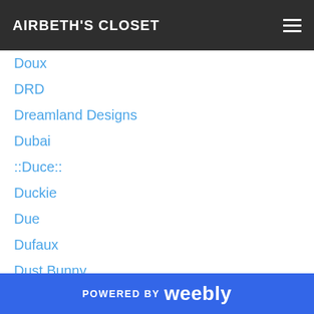AIRBETH'S CLOSET
Doux
DRD
Dreamland Designs
Dubai
::Duce::
Duckie
Due
Dufaux
Dust Bunny
DustyHut
Eaters Coma
.:EC:.
E C R U
*E.D.*
Edelstor
POWERED BY weebly